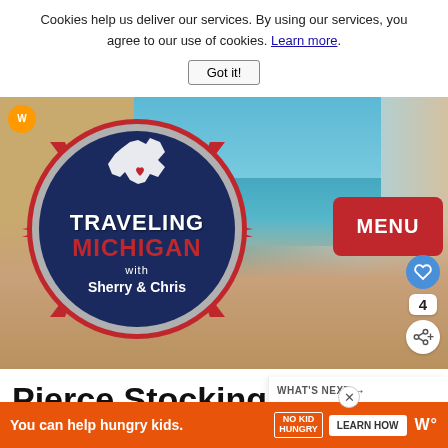Cookies help us deliver our services. By using our services, you agree to our use of cookies. Learn more.
Got it!
[Figure (photo): Hero banner image for Traveling Michigan with Sherry & Chris website. Shows a sandy beach/dune scene with blue water and sky. A circular navy blue logo with red compass star design reads 'Traveling Michigan with Sherry & Chris' with a Michigan state outline. A red MENU button is on the right side. Social action buttons (heart icon, share icon, count 4) are visible on the far right. A small orange WW badge is in the top left corner.]
Pierce Stocking Scenic Drive at Sleeping Bear
WHAT'S NEXT → Silver Lake Michigan Sa...
You can help hungry kids. NO KID HUNGRY LEARN HOW